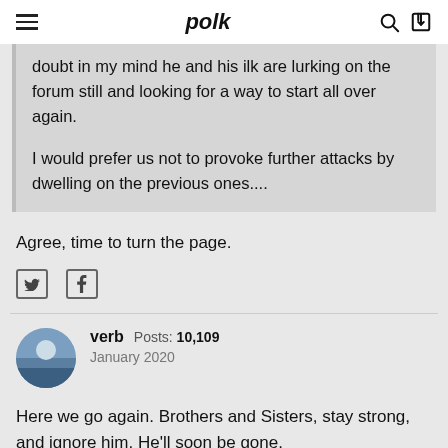polk
doubt in my mind he and his ilk are lurking on the forum still and looking for a way to start all over again.

I would prefer us not to provoke further attacks by dwelling on the previous ones....
Agree, time to turn the page.
verb  Posts: 10,109
January 2020
Here we go again. Brothers and Sisters, stay strong, and ignore him. He'll soon be gone.